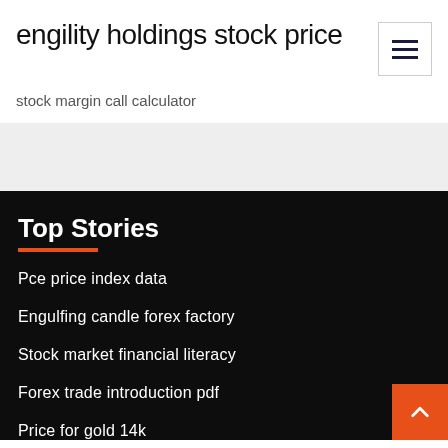engility holdings stock price
stock margin call calculator
Top Stories
Pce price index data
Engulfing candle forex factory
Stock market financial literacy
Forex trade introduction pdf
Price for gold 14k